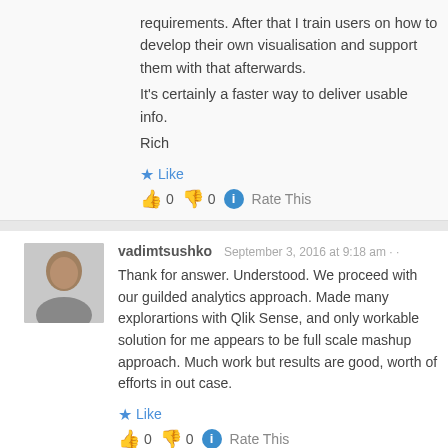requirements. After that I train users on how to develop their own visualisation and support them with that afterwards.
It's certainly a faster way to deliver usable info.
Rich
Like
👍 0 👎 0 ℹ Rate This
vadimtsushko
September 3, 2016 at 9:18 am
Thank for answer. Understood. We proceed with our guilded analytics approach. Made many explorartions with Qlik Sense, and only workable solution for me appears to be full scale mashup approach. Much work but results are good, worth of efforts in out case.
Like
👍 0 👎 0 ℹ Rate This